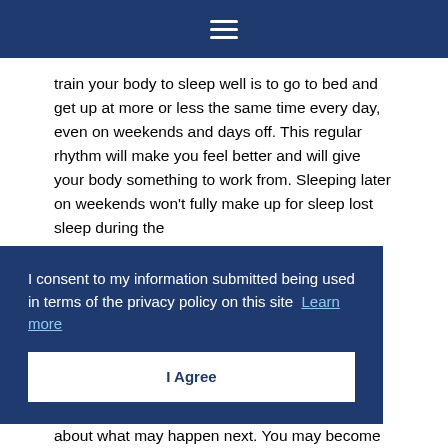≡
train your body to sleep well is to go to bed and get up at more or less the same time every day, even on weekends and days off. This regular rhythm will make you feel better and will give your body something to work from. Sleeping later on weekends won't fully make up for sleep lost sleep during the
I consent to my information submitted being used in terms of the privacy policy on this site  Learn more
I Agree
about what may happen next. You may become